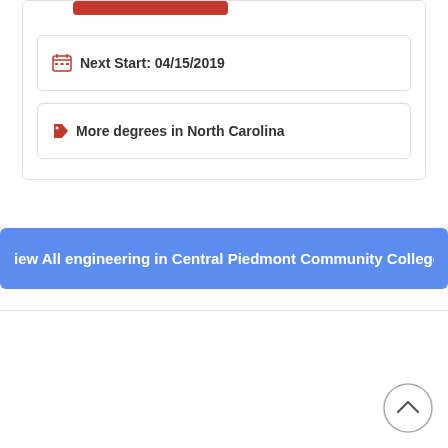Next Start: 04/15/2019
More degrees in North Carolina
View All engineering in Central Piedmont Community College
[Figure (other): Scroll to top button — circular arrow icon]